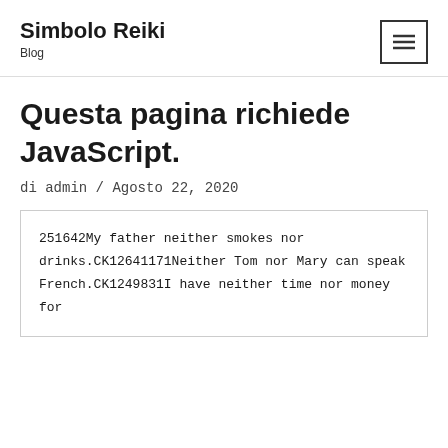Simbolo Reiki
Blog
Questa pagina richiede JavaScript.
di admin / Agosto 22, 2020
251642My father neither smokes nor drinks.CK12641171Neither Tom nor Mary can speak French.CK1249831I have neither time nor money for